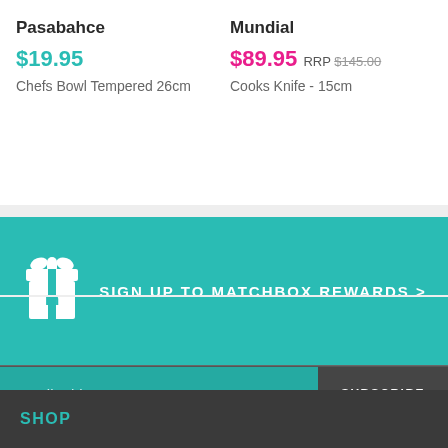Pasabahce
$19.95
Chefs Bowl Tempered 26cm
Mundial
$89.95 RRP $145.00
Cooks Knife - 15cm
SIGN UP TO MATCHBOX REWARDS >
Email address
SUBSCRIBE
FIND A STORE
SHOP